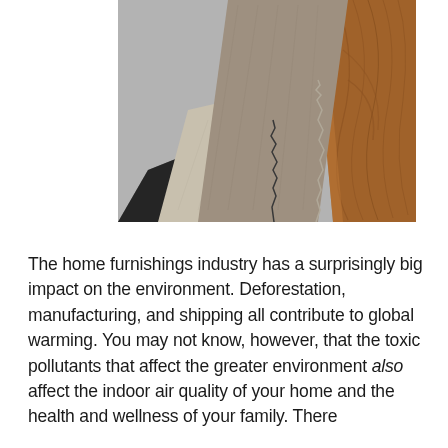[Figure (photo): A flat lay of fabric swatches in dark charcoal, light gray/beige, and medium taupe laid over a gray textured stone surface, alongside a piece of warm brown wood flooring sample with visible grain pattern.]
The home furnishings industry has a surprisingly big impact on the environment. Deforestation, manufacturing, and shipping all contribute to global warming. You may not know, however, that the toxic pollutants that affect the greater environment also affect the indoor air quality of your home and the health and wellness of your family. There